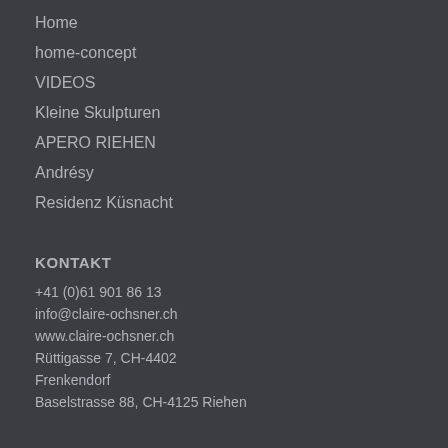Home
home-concept
VIDEOS
Kleine Skulpturen
APERO RIEHEN
Andrésy
Residenz Küsnacht
KONTAKT
+41 (0)61 901 86 13
info@claire-ochsner.ch
www.claire-ochsner.ch
Rüttigasse 7, CH-4402
Frenkendorf
Baselstrasse 88, CH-4125 Riehen